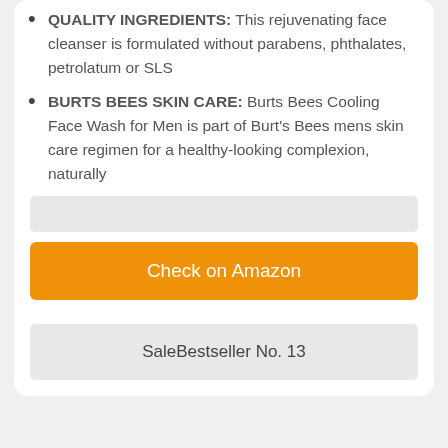QUALITY INGREDIENTS: This rejuvenating face cleanser is formulated without parabens, phthalates, petrolatum or SLS
BURTS BEES SKIN CARE: Burts Bees Cooling Face Wash for Men is part of Burt's Bees mens skin care regimen for a healthy-looking complexion, naturally
Check on Amazon
SaleBestseller No. 13